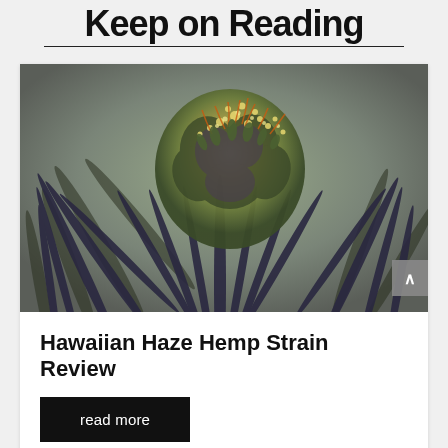Keep on Reading
[Figure (photo): Close-up macro photograph of a cannabis (hemp) flower bud with dark purple-green serrated leaves and yellow-white trichomes visible at the center, on a blurred gray background.]
Hawaiian Haze Hemp Strain Review
read more